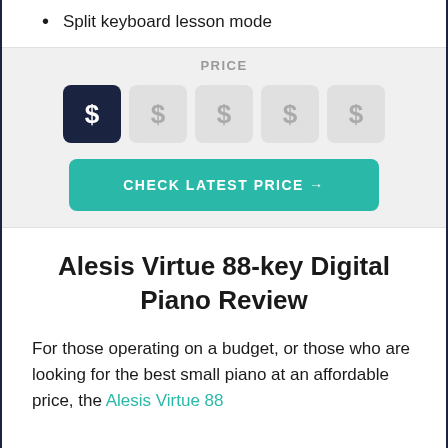Split keyboard lesson mode
PRICE
[Figure (infographic): Price rating shown as 5 dollar-sign boxes, first one dark/active, remaining 4 light gray/inactive]
CHECK LATEST PRICE →
Alesis Virtue 88-key Digital Piano Review
For those operating on a budget, or those who are looking for the best small piano at an affordable price, the Alesis Virtue 88...